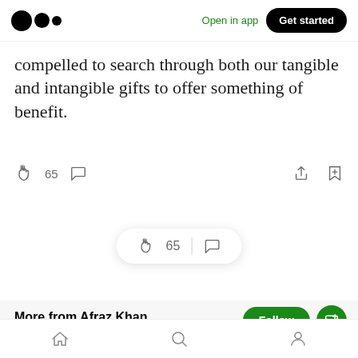[Figure (screenshot): Medium app navigation bar with logo (three dots), 'Open in app' link in green, and 'Get started' black pill button]
compelled to search through both our tangible and intangible gifts to offer something of benefit.
[Figure (screenshot): Article action bar with clapping hands icon, 65 clap count, comment bubble icon on left; share and bookmark icons on right]
[Figure (screenshot): Floating pill button with clapping hands icon, 65 count, divider, and comment bubble icon]
More from Afraz Khan
[Figure (screenshot): Follow button (green pill) and subscribe envelope button (green pill)]
Jun 26, 2017
[Figure (screenshot): Bottom navigation bar with home, search, and profile icons]